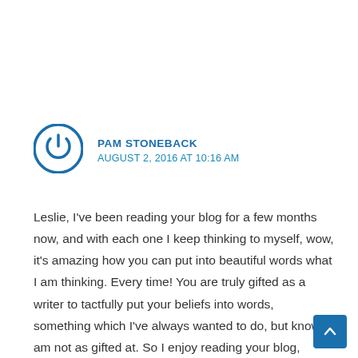[Figure (illustration): Circular power/user avatar icon with blue border and power symbol in center]
PAM STONEBACK
AUGUST 2, 2016 AT 10:16 AM
Leslie, I've been reading your blog for a few months now, and with each one I keep thinking to myself, wow, it's amazing how you can put into beautiful words what I am thinking. Every time! You are truly gifted as a writer to tactfully put your beliefs into words, something which I've always wanted to do, but know I am not as gifted at. So I enjoy reading your blog, especially when you talk about books, such as this one, because I, too, love books (I am our church's librarian) and especially enjoy Christian biographies. I bought the book Green Leaf in Drought that you had recommended and reviewed it for my library newsletter. I enjo reading lesser known biographies such as that one, it's like finding